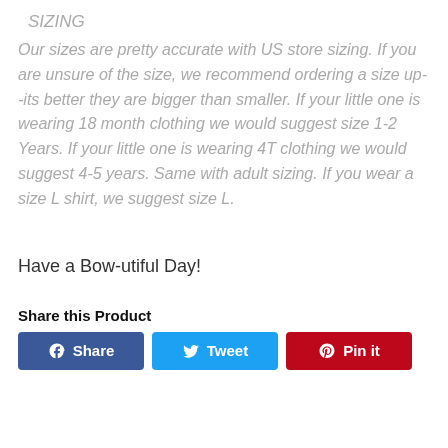SIZING
Our sizes are pretty accurate with US store sizing. If you are unsure of the size, we recommend ordering a size up--its better they are bigger than smaller. If your little one is wearing 18 month clothing we would suggest size 1-2 Years. If your little one is wearing 4T clothing we would suggest 4-5 years. Same with adult sizing. If you wear a size L shirt, we suggest size L.
Have a Bow-utiful Day!
Share this Product
[Figure (other): Social share buttons: Facebook Share, Twitter Tweet, Pinterest Pin it]